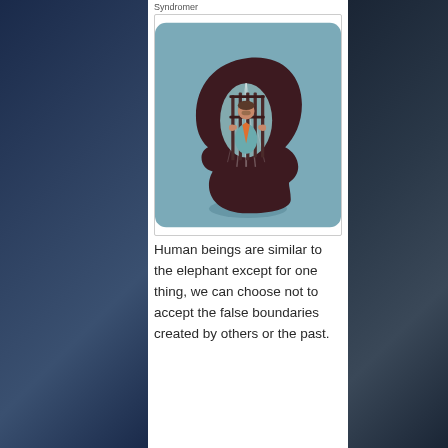Syndromer
[Figure (illustration): Illustration of a dark human head silhouette in profile facing right, with a glowing cage inside the head containing a man in a suit and tie gripping the bars. The background of the head area is teal/blue-grey with vertical light rays behind the cage. The image has rounded corners.]
Human beings are similar to the elephant except for one thing, we can choose not to accept the false boundaries created by others or the past.